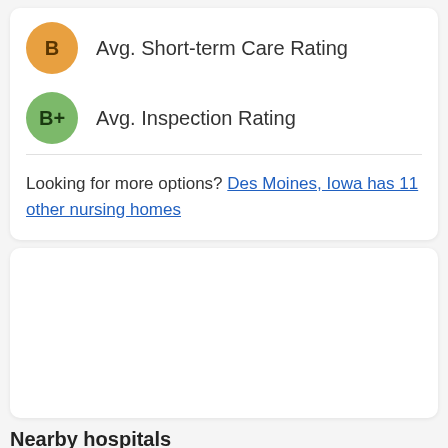B  Avg. Short-term Care Rating
B+  Avg. Inspection Rating
Looking for more options? Des Moines, Iowa has 11 other nursing homes
[Figure (other): Advertisement or empty card block]
Nearby hospitals